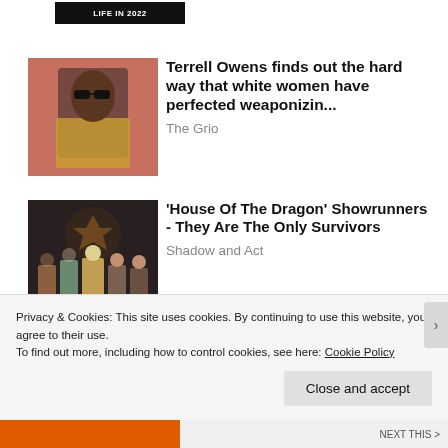[Figure (photo): Partial image strip at top showing a dark background with white text reading 'LIFE IN 2022']
[Figure (photo): Photo of Terrell Owens wearing sunglasses and a gold blazer]
Terrell Owens finds out the hard way that white women have perfected weaponizin...
The Grio
[Figure (photo): Photo from House Of The Dragon showing cast members in costume on a dark throne-room set]
'House Of The Dragon' Showrunners - They Are The Only Survivors
Shadow and Act
Privacy & Cookies: This site uses cookies. By continuing to use this website, you agree to their use.
To find out more, including how to control cookies, see here: Cookie Policy
Close and accept